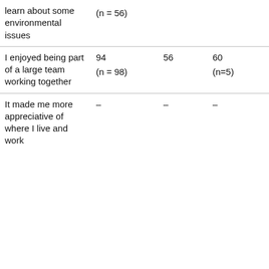| learn about some environmental issues | (n = 56) |  |  |  |
| I enjoyed being part of a large team working together | 94
(n = 98) | 56 | 60
(n=5) | – |
| It made me more appreciative of where I live and work | – | – | – | 57
(n |